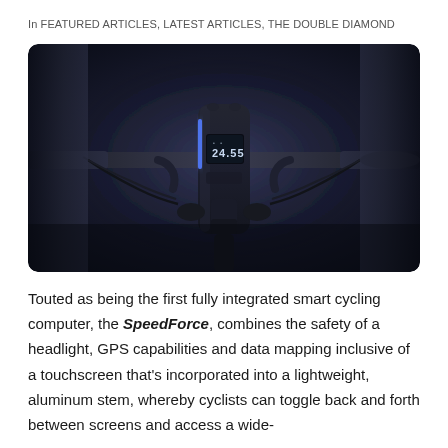In FEATURED ARTICLES, LATEST ARTICLES, THE DOUBLE DIAMOND
[Figure (photo): Close-up photo of a bicycle handlebar from the front, centered on a dark navy/black background. A sleek black smart cycling computer device is mounted at the center stem, displaying '24.55' on its small screen with a blue accent light. The handlebars extend left and right. The overall image is dark and moody.]
Touted as being the first fully integrated smart cycling computer, the SpeedForce, combines the safety of a headlight, GPS capabilities and data mapping inclusive of a touchscreen that's incorporated into a lightweight, aluminum stem, whereby cyclists can toggle back and forth between screens and access a wide-